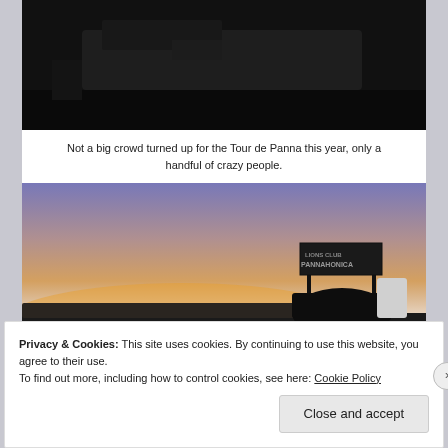[Figure (photo): Dark nighttime photo, partially visible at top of page]
Not a big crowd turned up for the Tour de Panna this year, only a handful of crazy people.
[Figure (photo): Sunset photo with orange and blue sky; Lions Club Cannahonica sign visible on right side with silhouette of equipment/vehicle]
Privacy & Cookies: This site uses cookies. By continuing to use this website, you agree to their use.
To find out more, including how to control cookies, see here: Cookie Policy
Close and accept